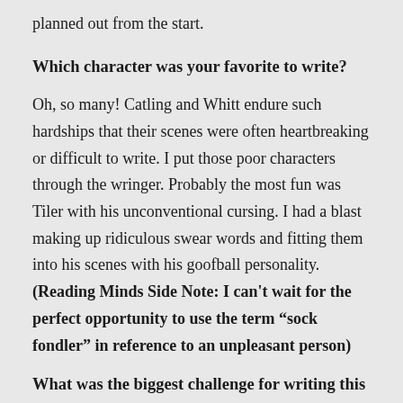planned out from the start.
Which character was your favorite to write?
Oh, so many! Catling and Whitt endure such hardships that their scenes were often heartbreaking or difficult to write. I put those poor characters through the wringer. Probably the most fun was Tiler with his unconventional cursing. I had a blast making up ridiculous swear words and fitting them into his scenes with his goofball personality. (Reading Minds Side Note: I can't wait for the perfect opportunity to use the term “sock fondler” in reference to an unpleasant person)
What was the biggest challenge for writing this